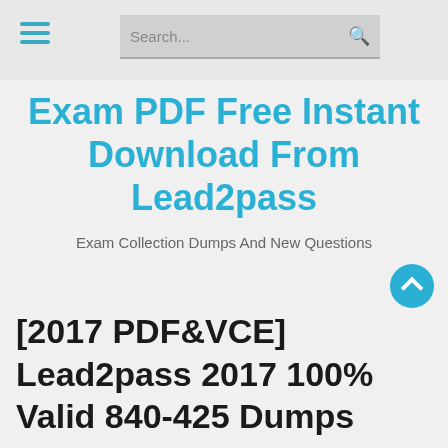Search...
Exam PDF Free Instant Download From Lead2pass
Exam Collection Dumps And New Questions
[2017 PDF&VCE] Lead2pass 2017 100% Valid 840-425 Dumps Guarantee 100% Pass